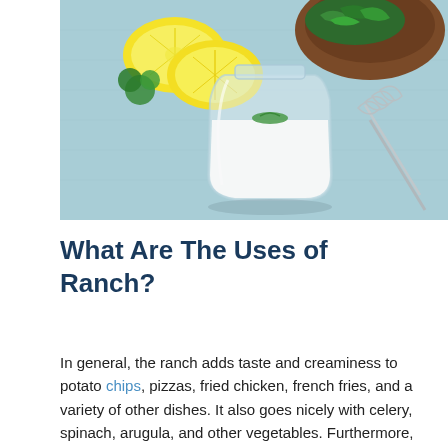[Figure (photo): A glass jar filled with white ranch dressing garnished with a sprig of green herb, placed on a light blue textured surface. A metal whisk is visible to the right. In the background are lemon halves and a wooden bowl with green leafy herbs.]
What Are The Uses of Ranch?
In general, the ranch adds taste and creaminess to potato chips, pizzas, fried chicken, french fries, and a variety of other dishes. It also goes nicely with celery, spinach, arugula, and other vegetables. Furthermore, it is unsurprising that